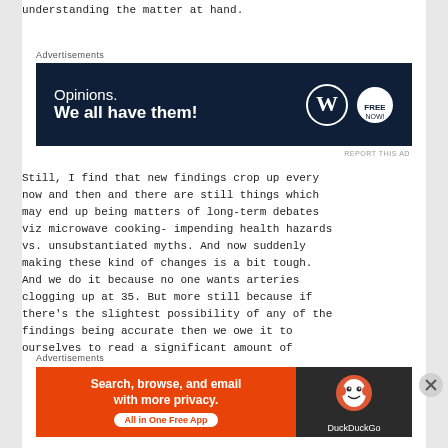understanding the matter at hand.
Advertisements
[Figure (other): WordPress/Freemium ad banner with dark navy background. Text: 'Opinions. We all have them!' with WordPress and another logo on the right.]
REPORT THIS AD
Still, I find that new findings crop up every now and then and there are still things which may end up being matters of long-term debates viz microwave cooking- impending health hazards vs. unsubstantiated myths. And now suddenly making these kind of changes is a bit tough. And we do it because no one wants arteries clogging up at 35. But more still because if there's the slightest possibility of any of the findings being accurate then we owe it to ourselves to read a significant amount of
Advertisements
[Figure (other): DuckDuckGo ad banner. Left side orange background: 'Search, browse, and email with more privacy. All in One Free App'. Right side dark background with DuckDuckGo logo.]